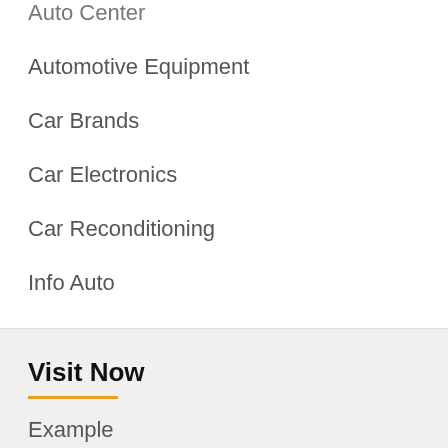Auto Center
Automotive Equipment
Car Brands
Car Electronics
Car Reconditioning
Info Auto
Visit Now
Example
BL
TL